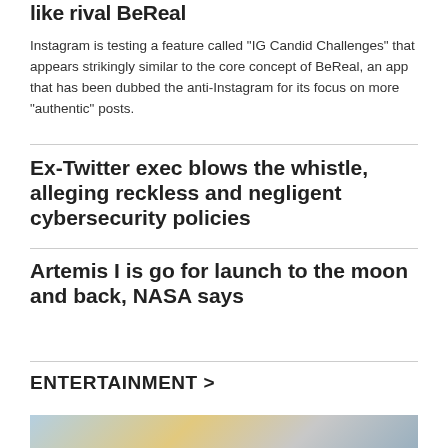like rival BeReal
Instagram is testing a feature called "IG Candid Challenges" that appears strikingly similar to the core concept of BeReal, an app that has been dubbed the anti-Instagram for its focus on more "authentic" posts.
Ex-Twitter exec blows the whistle, alleging reckless and negligent cybersecurity policies
Artemis I is go for launch to the moon and back, NASA says
ENTERTAINMENT >
[Figure (photo): Partial photo visible at bottom of page, showing a person against a colorful background]